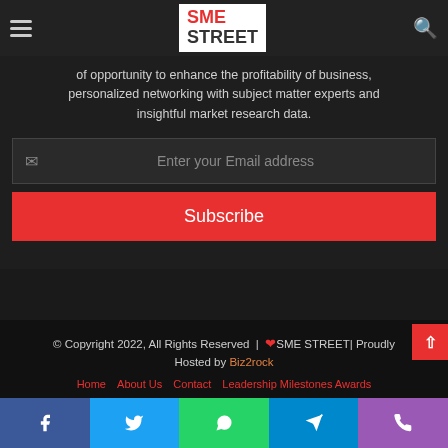SME STREET
of opportunity to enhance the profitability of business, personalized networking with subject matter experts and insightful market research data.
Enter your Email address
Subscribe
© Copyright 2022, All Rights Reserved | ❤ SME STREET| Proudly Hosted by Biz2rock
Home   About Us   Contact   Leadership Milestones Awards